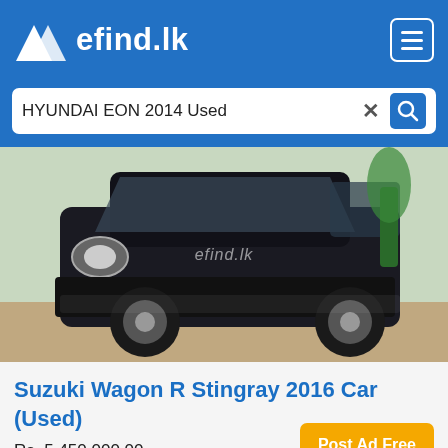efind.lk
HYUNDAI EON 2014 Used
[Figure (photo): Black Suzuki Wagon R Stingray 2016 car photographed from front-left angle, parked on brick pavement with 'efind.lk' watermark overlay]
Suzuki Wagon R Stingray 2016 Car (Used)
Rs. 5,450,000.00
Post Ad Free